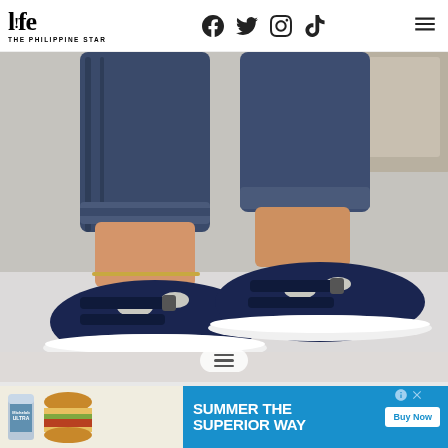Life The Philippine Star — navigation with Facebook, Twitter, Instagram, TikTok social icons and hamburger menu
[Figure (photo): Close-up photo of a person wearing navy blue cut-out sneakers/athletic sandals with velcro straps and white soles, with rolled-up jeans and a gold anklet, photographed on a light fur rug and concrete surface]
[Figure (infographic): Advertisement banner: Michelob Ultra beer can with burger image on left, 'Summer the Superior Way' text with 'Buy Now' button on blue background on right]